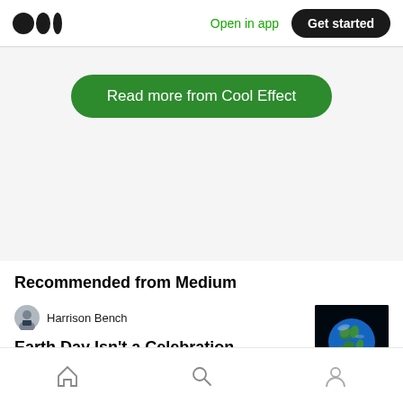Open in app | Get started
Read more from Cool Effect
Recommended from Medium
Harrison Bench
Earth Day Isn't a Celebration
[Figure (photo): Earth globe photo on black background (article thumbnail)]
Home | Search | Profile navigation icons